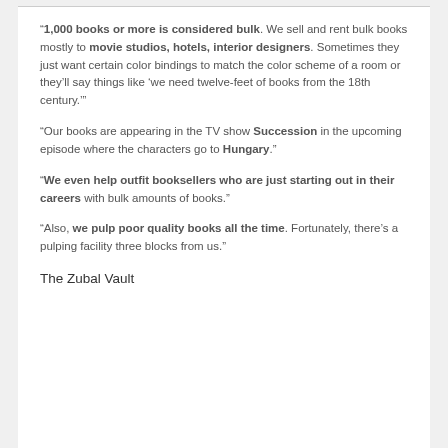“1,000 books or more is considered bulk. We sell and rent bulk books mostly to movie studios, hotels, interior designers. Sometimes they just want certain color bindings to match the color scheme of a room or they’ll say things like ‘we need twelve-feet of books from the 18th century.’”
“Our books are appearing in the TV show Succession in the upcoming episode where the characters go to Hungary.”
“We even help outfit booksellers who are just starting out in their careers with bulk amounts of books.”
“Also, we pulp poor quality books all the time. Fortunately, there’s a pulping facility three blocks from us.”
The Zubal Vault